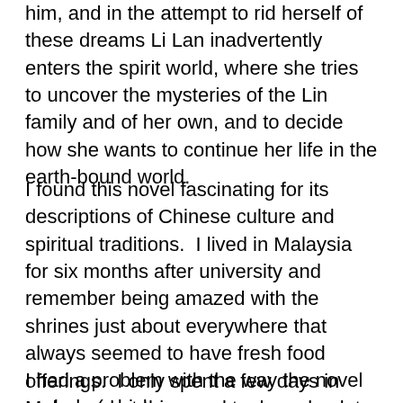him, and in the attempt to rid herself of these dreams Li Lan inadvertently enters the spirit world, where she tries to uncover the mysteries of the Lin family and of her own, and to decide how she wants to continue her life in the earth-bound world.
I found this novel fascinating for its descriptions of Chinese culture and spiritual traditions.  I lived in Malaysia for six months after university and remember being amazed with the shrines just about everywhere that always seemed to have fresh food offerings.  I only spent a few days in Malacca, but this novel took me back to wandering the old and (to me) quaintly narrow streets and to the Chinese cemetery on a hill (perhaps the one mentioned in the novel?).
I had a problem with the way the novel ended,  (which